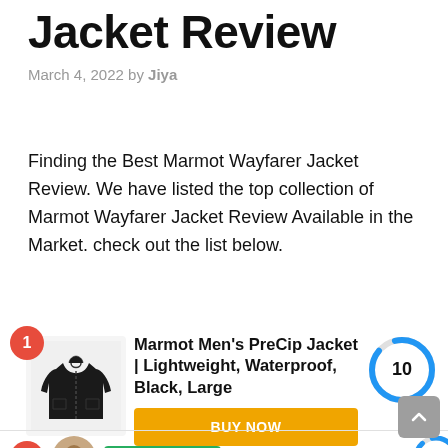Jacket Review
March 4, 2022 by Jiya
Finding the Best Marmot Wayfarer Jacket Review. We have listed the top collection of Marmot Wayfarer Jacket Review Available in the Market. check out the list below.
[Figure (other): Product listing card: Marmot Men's PreCip Jacket | Lightweight, Waterproof, Black, Large with score 10/10 donut chart and BUY NOW button from Amazon.com]
[Figure (other): Partial product listing card 2 with Recommended badge and partial donut chart]